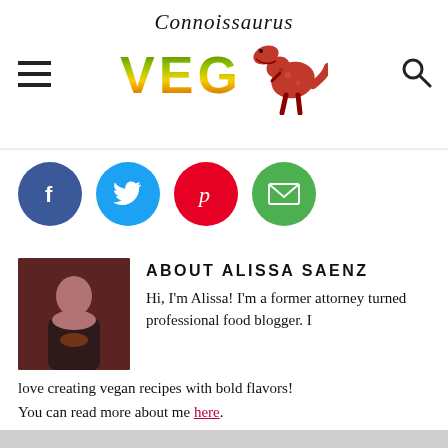Connoissaurus VEG
[Figure (logo): Connoissaurus Veg logo with script text and dinosaur illustration]
[Figure (infographic): Social share buttons: Facebook (blue), Twitter (cyan), Pinterest (red), Email (green)]
[Figure (photo): Photo of Alissa Saenz, a woman with dark hair holding a bowl]
ABOUT ALISSA SAENZ
Hi, I'm Alissa! I'm a former attorney turned professional food blogger. I love creating vegan recipes with bold flavors! You can read more about me here. I'd love to connect with you on Facebook, Instagram, or Pinterest.